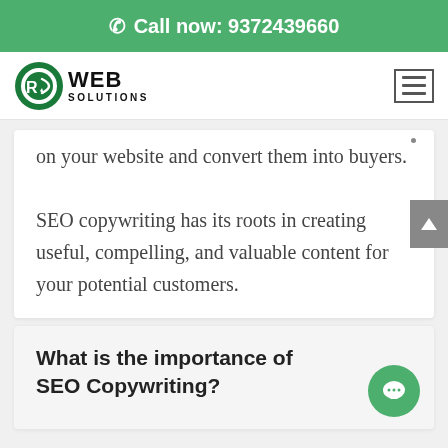Call now: 9372439660
[Figure (logo): RK Web Solutions logo with circular green and black emblem and text 'WEB SOLUTIONS']
on your website and convert them into buyers.

SEO copywriting has its roots in creating useful, compelling, and valuable content for your potential customers.
What is the importance of SEO Copywriting?